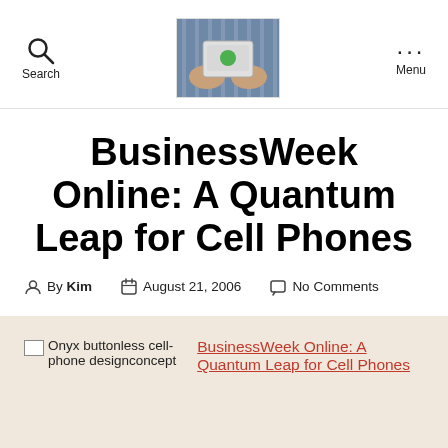Search | [logo image] | Menu
BusinessWeek Online: A Quantum Leap for Cell Phones
By Kim  August 21, 2006  No Comments
[Figure (screenshot): Broken image placeholder followed by alt text: Onyx buttonless cell-phone designconcept and a link: BusinessWeek Online: A Quantum Leap for Cell Phones]